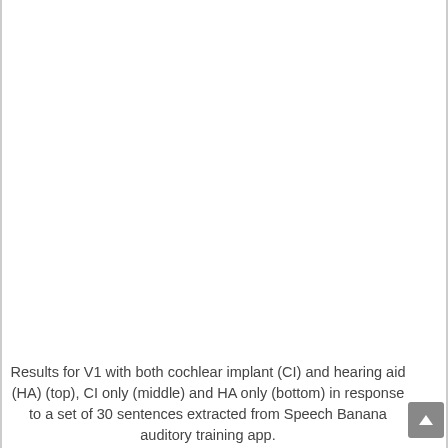[Figure (other): Blank white area representing a figure placeholder (figure content not visible in this page crop)]
Results for V1 with both cochlear implant (CI) and hearing aid (HA) (top), CI only (middle) and HA only (bottom) in response to a set of 30 sentences extracted from Speech Banana auditory training app.